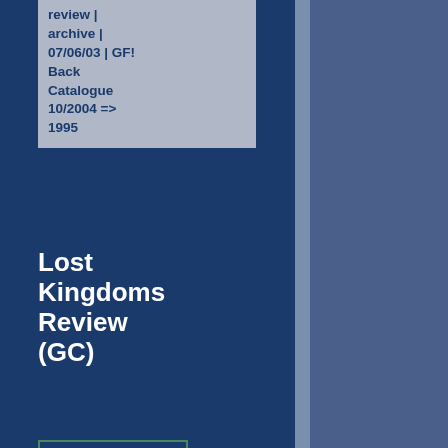review | archive | 07/06/03 | GF! Back Catalogue 10/2004 => 1995
Lost Kingdoms Review (GC)
[Figure (other): 3 filled stars and 2 empty stars rating widget]
game: Lost Kingdoms
review | 07/26/02 | Matt Baldwin
Lost Kingdoms II Review
[Figure (other): 3 filled stars and 2 empty stars rating widget]
game: Lost Kingdoms II